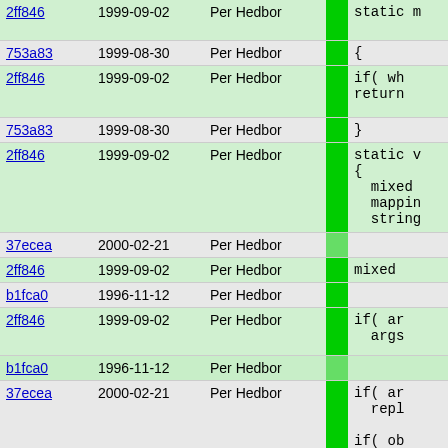| Hash | Date | Author |  | Code |
| --- | --- | --- | --- | --- |
| 2ff846 | 1999-09-02 | Per Hedbor | | | static m |
| 753a83 | 1999-08-30 | Per Hedbor | | | { |
| 2ff846 | 1999-09-02 | Per Hedbor | | | if( wh
return |
| 753a83 | 1999-08-30 | Per Hedbor | | | } |
| 2ff846 | 1999-09-02 | Per Hedbor | | | static v
{
  mixed
  mappin
  string |
| 37ecea | 2000-02-21 | Per Hedbor | | |  |
| 2ff846 | 1999-09-02 | Per Hedbor | | | mixed |
| b1fca0 | 1996-11-12 | Per Hedbor | | |  |
| 2ff846 | 1999-09-02 | Per Hedbor | | | if( ar
  args |
| b1fca0 | 1996-11-12 | Per Hedbor | | |  |
| 37ecea | 2000-02-21 | Per Hedbor | | | if( ar
  repl

if( ob
{
  rep |